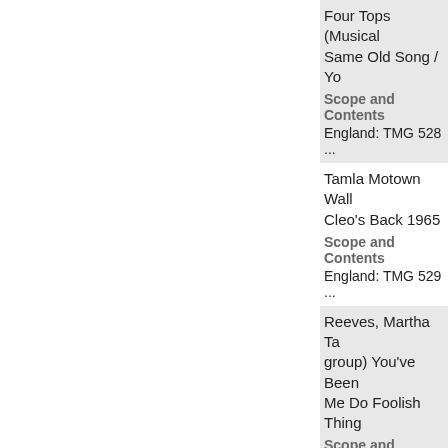Four Tops (Musical group) It's The Same Old Song / Yo...
Scope and Contents
England: TMG 528 ...
Tamla Motown Wall... Cleo's Back 1965
Scope and Contents
England: TMG 529 ...
Reeves, Martha Ta... group) You've Been... Me Do Foolish Thing...
Scope and Contents
England: TMG 530 ...
Contours (Musical g... At The Purse / Sear...
Scope and Contents
England: TMG 531 ...
Tamla Motown Wor... Music Talk 1965...